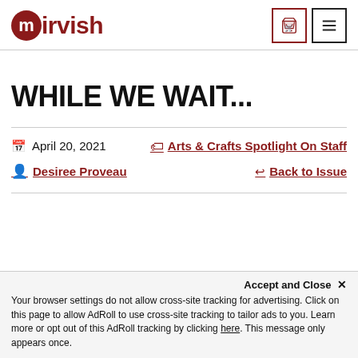mirvish
WHILE WE WAIT...
April 20, 2021
Arts & Crafts Spotlight On Staff
Desiree Proveau
Back to Issue
Accept and Close ×
Your browser settings do not allow cross-site tracking for advertising. Click on this page to allow AdRoll to use cross-site tracking to tailor ads to you. Learn more or opt out of this AdRoll tracking by clicking here. This message only appears once.